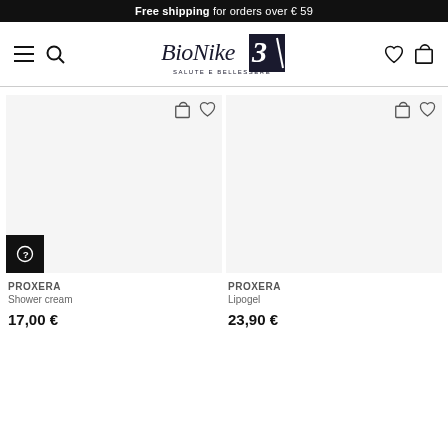Free shipping for orders over € 59
[Figure (logo): BioNike Salute e Bellessere logo with stylized script and dark graphic element]
[Figure (illustration): Product card for PROXERA Shower cream showing product image area with cart and heart icons, question mark badge]
PROXERA
Shower cream
17,00 €
[Figure (illustration): Product card for PROXERA Lipogel showing product image area with cart and heart icons]
PROXERA
Lipogel
23,90 €